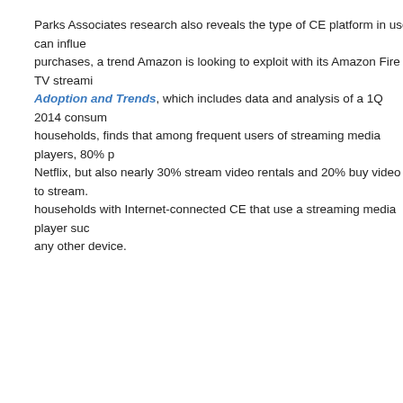Parks Associates research also reveals the type of CE platform in use can influence purchases, a trend Amazon is looking to exploit with its Amazon Fire TV streaming... Adoption and Trends, which includes data and analysis of a 1Q 2014 consumer households, finds that among frequent users of streaming media players, 80% purchase Netflix, but also nearly 30% stream video rentals and 20% buy video to stream. households with Internet-connected CE that use a streaming media player such as any other device.